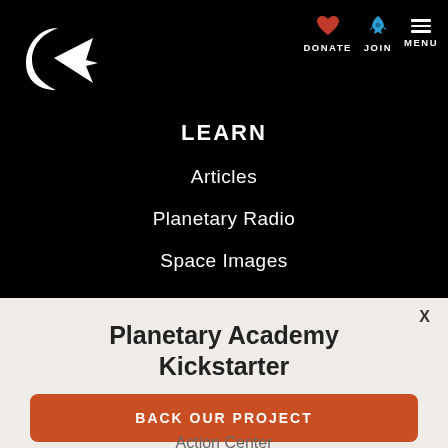[Figure (logo): Planetary Society logo - white crescent and arrow shape on black background]
DONATE  JOIN  MENU
LEARN
Articles
Planetary Radio
Space Images
Planetary Academy Kickstarter
BACK OUR PROJECT
Action Center